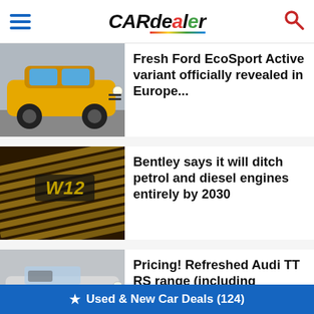CAR dealer
[Figure (photo): Yellow Ford EcoSport SUV parked on a street, side-front view]
Fresh Ford EcoSport Active variant officially revealed in Europe...
[Figure (photo): Close-up of a Bentley W12 engine cover with gold/bronze ribbed metal]
Bentley says it will ditch petrol and diesel engines entirely by 2030
[Figure (photo): Silver Audi TT RS Roadster convertible, interior visible]
Pricing! Refreshed Audi TT RS range (including Roadster) hits SA
★ Used & New Car Deals (124)